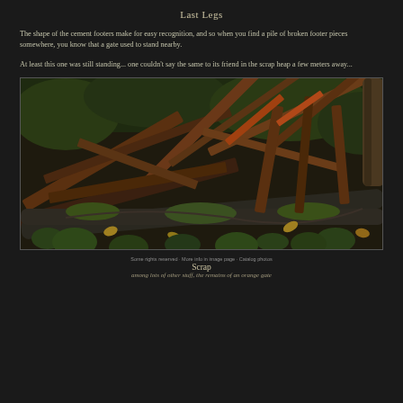Last Legs
The shape of the cement footers make for easy recognition, and so when you find a pile of broken footer pieces somewhere, you know that a gate used to stand nearby.
At least this one was still standing... one couldn't say the same to its friend in the scrap heap a few meters away...
[Figure (photo): A pile of broken, rusted wooden and metal debris scattered on a hillside covered with green plants and moss. The scrap heap includes old wooden planks, rusted metal pipes and rods, and various deteriorating materials overgrown with vegetation.]
Scrap
among lots of other stuff, the remains of an orange gate